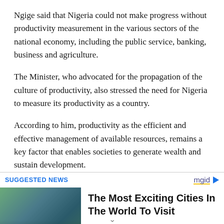Ngige said that Nigeria could not make progress without productivity measurement in the various sectors of the national economy, including the public service, banking, business and agriculture.
The Minister, who advocated for the propagation of the culture of productivity, also stressed the need for Nigeria to measure its productivity as a country.
According to him, productivity as the efficient and effective management of available resources, remains a key factor that enables societies to generate wealth and sustain development.
SUGGESTED NEWS
[Figure (photo): Aerial photo of a modern city with waterways and skyscrapers]
The Most Exciting Cities In The World To Visit